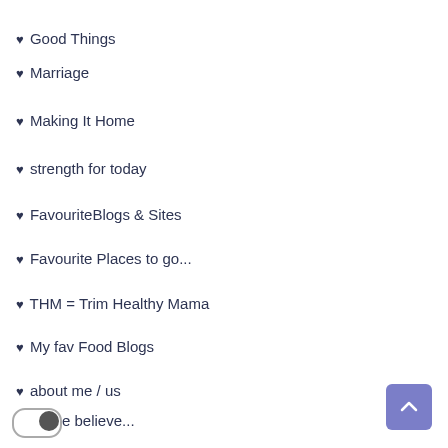♥ Good Things
♥ Marriage
♥ Making It Home
♥ strength for today
♥ FavouriteBlogs & Sites
♥ Favourite Places to go...
♥ THM = Trim Healthy Mama
♥ My fav Food Blogs
♥ about me / us
♥ e believe...